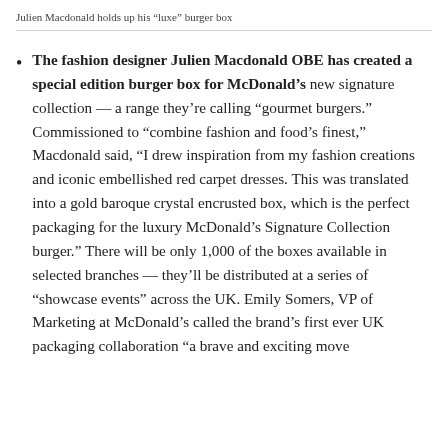Julien Macdonald holds up his “luxe” burger box
The fashion designer Julien Macdonald OBE has created a special edition burger box for McDonald’s new signature collection — a range they’re calling “gourmet burgers.” Commissioned to “combine fashion and food’s finest,” Macdonald said, “I drew inspiration from my fashion creations and iconic embellished red carpet dresses. This was translated into a gold baroque crystal encrusted box, which is the perfect packaging for the luxury McDonald’s Signature Collection burger.” There will be only 1,000 of the boxes available in selected branches — they’ll be distributed at a series of “showcase events” across the UK. Emily Somers, VP of Marketing at McDonald’s called the brand’s first ever UK packaging collaboration “a brave and exciting move